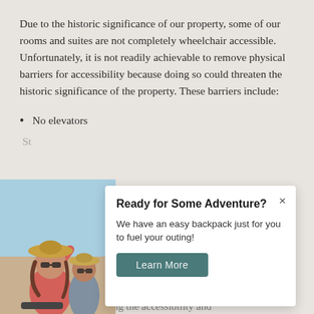Due to the historic significance of our property, some of our rooms and suites are not completely wheelchair accessible. Unfortunately, it is not readily achievable to remove physical barriers for accessibility because doing so could threaten the historic significance of the property. These barriers include:
No elevators
[Figure (photo): Photo of two people (a woman with sunglasses and hat, and a man with sunglasses) appearing joyful, partially visible on left side of popup overlay]
Ready for Some Adventure?
We have an easy backpack just for you to fuel your outing!
Learn More
committed to facilitating the accessibility and